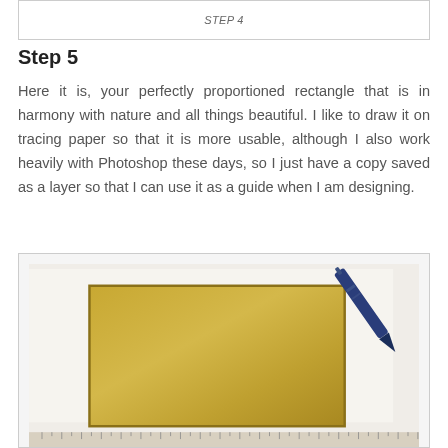STEP 4
Step 5
Here it is, your perfectly proportioned rectangle that is in harmony with nature and all things beautiful. I like to draw it on tracing paper so that it is more usable, although I also work heavily with Photoshop these days, so I just have a copy saved as a layer so that I can use it as a guide when I am designing.
[Figure (photo): Photo of a golden rectangle drawn on tracing paper with a blue pen visible in the upper right corner and a ruler at the bottom. The rectangle has a golden/yellow gradient fill with a darker border outline.]